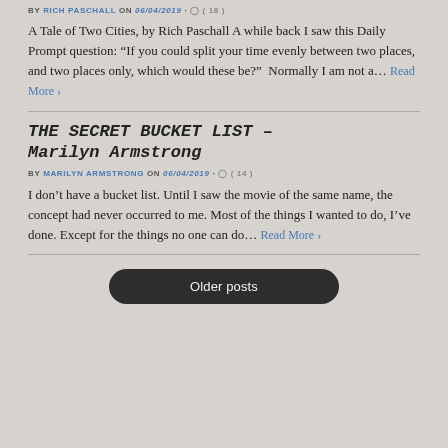BY RICH PASCHALL on 06/04/2019 · ( 18 )
A Tale of Two Cities, by Rich Paschall A while back I saw this Daily Prompt question: “If you could split your time evenly between two places, and two places only, which would these be?”  Normally I am not a… Read More ›
THE SECRET BUCKET LIST – Marilyn Armstrong
BY MARILYN ARMSTRONG on 06/04/2019 · ( 14 )
I don’t have a bucket list. Until I saw the movie of the same name, the concept had never occurred to me. Most of the things I wanted to do, I’ve done. Except for the things no one can do… Read More ›
Older posts